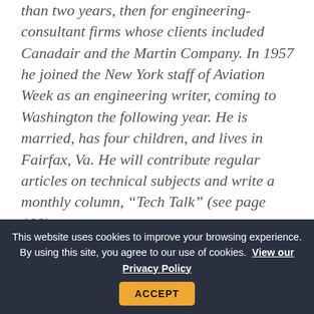than two years, then for engineering-consultant firms whose clients included Canadair and the Martin Company. In 1957 he joined the New York staff of Aviation Week as an engineering writer, coming to Washington the following year. He is married, has four children, and lives in Fairfax, Va. He will contribute regular articles on technical subjects and write a monthly column, “Tech Talk” (see page 108).
[Figure (other): Partial image of an article or advertisement with a light blue background and bold title text beginning 'Its Tour of Duty']
This website uses cookies to improve your browsing experience. By using this site, you agree to our use of cookies. View our Privacy Policy ACCEPT